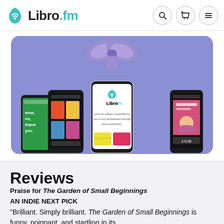Libro.fm
[Figure (screenshot): Libro.fm promotional banner showing smartphones with the app interface and a purple ribbon bow, on a purple/periwinkle background]
Reviews
Praise for The Garden of Small Beginnings AN INDIE NEXT PICK
“Brilliant. Simply brilliant. The Garden of Small Beginnings is funny, poignant, and startling in its